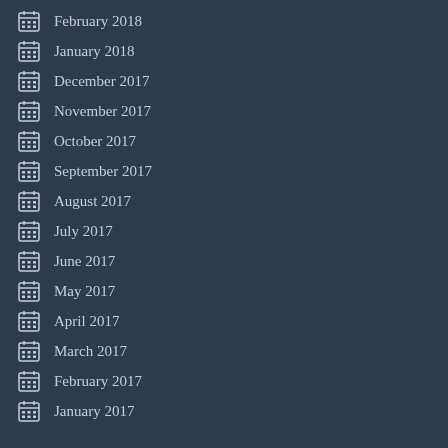February 2018
January 2018
December 2017
November 2017
October 2017
September 2017
August 2017
July 2017
June 2017
May 2017
April 2017
March 2017
February 2017
January 2017